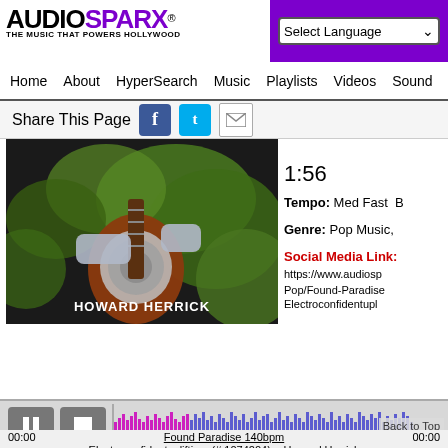[Figure (logo): AudioSparx logo — AUDIO in black bold, SPARX in purple bold, tagline 'THE MUSIC THAT POWERS HOLLYWOOD']
[Figure (screenshot): Language selector dropdown showing 'Select Language' with purple background bar]
Home   About   HyperSearch   Music   Playlists   Videos   Sound
Share This Page
[Figure (photo): Video thumbnail showing a person holding a resonator guitar with green foliage background and text HOWARD HERRICK]
1:56
Tempo: Med Fast B
Genre: Pop Music,
Social Media Link:
https://www.audiosp
Pop/Found-Paradise
Electroconfidentupl
[Figure (other): Audio player with pause and stop buttons, waveform display (pink played portion, blue unplayed), Back to Top button]
00:00   Found Paradise 140bpm   00:00
Electroconfidentuplifting  (# 1074204)  - Howard Herrick